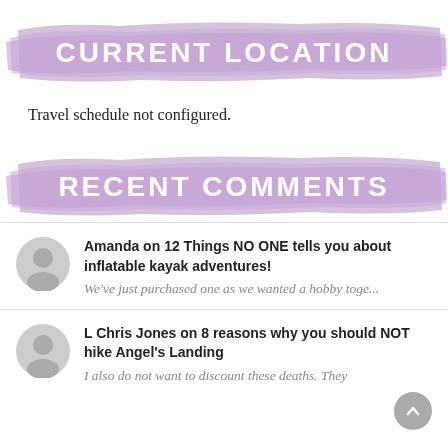CURRENT LOCATION
Travel schedule not configured.
RECENT COMMENTS
Amanda on 12 Things NO ONE tells you about inflatable kayak adventures! We've just purchased one as we wanted a hobby toge...
L Chris Jones on 8 reasons why you should NOT hike Angel's Landing I also do not want to discount these deaths. They